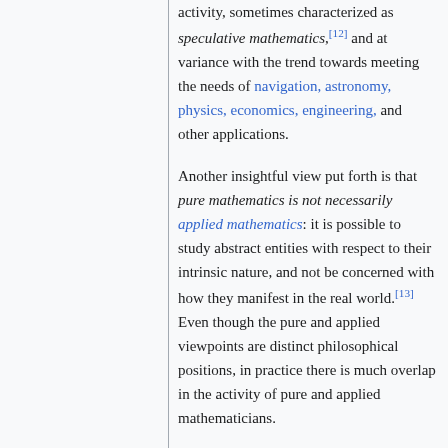activity, sometimes characterized as speculative mathematics,[12] and at variance with the trend towards meeting the needs of navigation, astronomy, physics, economics, engineering, and other applications.
Another insightful view put forth is that pure mathematics is not necessarily applied mathematics: it is possible to study abstract entities with respect to their intrinsic nature, and not be concerned with how they manifest in the real world.[13] Even though the pure and applied viewpoints are distinct philosophical positions, in practice there is much overlap in the activity of pure and applied mathematicians.
To develop accurate models for describing the real world, many applied mathematicians draw on tools and